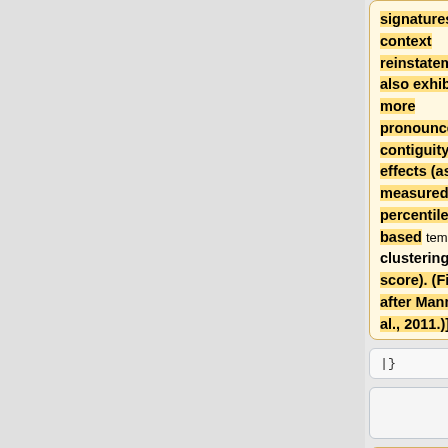signatures of context reinstatement also exhibited more pronounced contiguity effects (as measured by a percentile-based temporal clustering score). (Figure after Manning et al., 2011.)]]
|}
|}
== Neural mechanisms underlying human reward
The ability to reinstate this contextual information